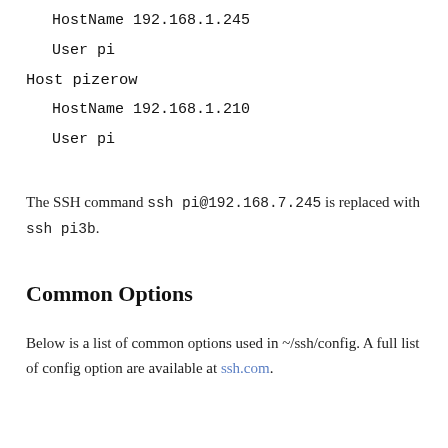HostName 192.168.1.245
User pi
Host pizerow
HostName 192.168.1.210
User pi
The SSH command ssh pi@192.168.7.245 is replaced with ssh pi3b.
Common Options
Below is a list of common options used in ~/ssh/config. A full list of config option are available at ssh.com.